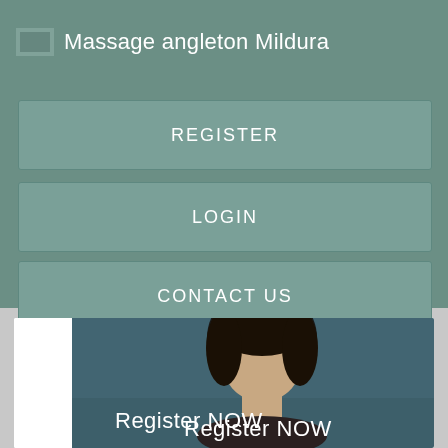Massage angleton Mildura
REGISTER
LOGIN
CONTACT US
[Figure (photo): Screenshot of a website for Massage angleton Mildura with navigation buttons (REGISTER, LOGIN, CONTACT US) and a partial view of a card below showing a woman's face with dark hair and text 'Register NOW']
Register NOW